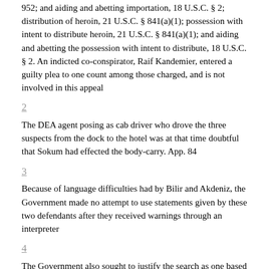952; and aiding and abetting importation, 18 U.S.C. § 2; distribution of heroin, 21 U.S.C. § 841(a)(1); possession with intent to distribute heroin, 21 U.S.C. § 841(a)(1); and aiding and abetting the possession with intent to distribute, 18 U.S.C. § 2. An indicted co-conspirator, Raif Kandemier, entered a guilty plea to one count among those charged, and is not involved in this appeal
2
The DEA agent posing as cab driver who drove the three suspects from the dock to the hotel was at that time doubtful that Sokum had effected the body-carry. App. 84
3
Because of language difficulties had by Bilir and Akdeniz, the Government made no attempt to use statements given by these two defendants after they received warnings through an interpreter
4
The Government also sought to justify the search as one based upon probable cause and exigent circumstances, and challenged the standing